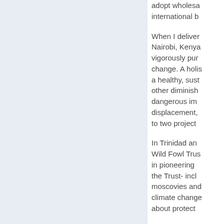adopt wholesale international b
When I deliver Nairobi, Kenya vigorously pur change. A holis a healthy, sust other diminish dangerous im displacement, to two project
In Trinidad an Wild Fowl Trus in pioneering the Trust- incl moscovies and climate change about protect